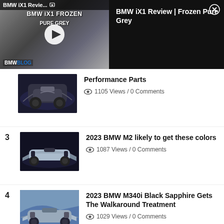[Figure (screenshot): Video player overlay showing BMW iX1 Review Frozen Pure Grey thumbnail with play button, BMWBLOG logo, and info panel with title and close button]
Performance Parts
1105 Views / 0 Comments
3  2023 BMW M2 likely to get these colors
1087 Views / 0 Comments
4  2023 BMW M340i Black Sapphire Gets The Walkaround Treatment
1029 Views / 0 Comments